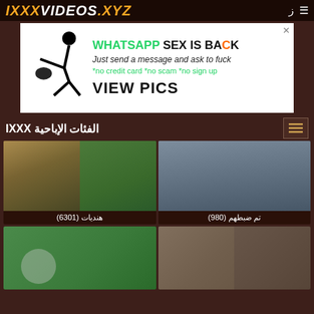IXXX VIDEOS .XYZ
[Figure (photo): Advertisement banner: WhatsApp sex promotion with stick figure graphic and 'VIEW PICS' call to action]
الفئات الإباحية IXXX
[Figure (photo): Video thumbnail collage of two women outdoors near motorcycles, labeled هنديات (6301)]
هنديات (6301)
[Figure (photo): Video thumbnail of person, labeled تم ضبطهم (980)]
تم ضبطهم (980)
[Figure (photo): Video thumbnail outdoors green background]
[Figure (photo): Video thumbnail collage of people]